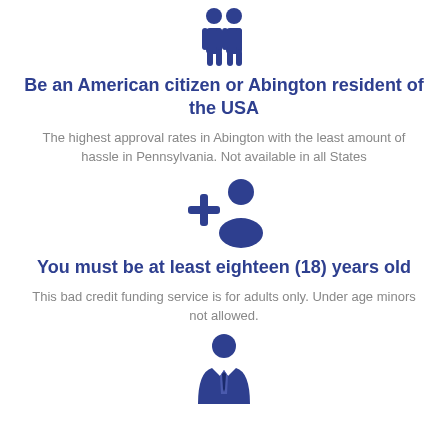[Figure (illustration): Dark blue icon of two people standing side by side]
Be an American citizen or Abington resident of the USA
The highest approval rates in Abington with the least amount of hassle in Pennsylvania. Not available in all States
[Figure (illustration): Dark blue icon of a person with a plus sign (add person/user)]
You must be at least eighteen (18) years old
This bad credit funding service is for adults only. Under age minors not allowed.
[Figure (illustration): Dark blue icon of a person in business attire (suit and tie)]